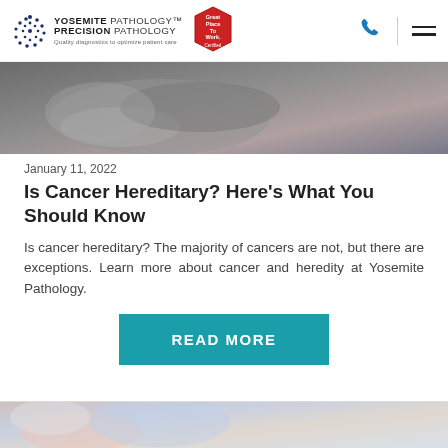Yosemite Pathology Precision Pathology — Quality diagnostics to optimize patient care
[Figure (photo): A close-up photograph of medical gloved hands, partially visible, against a blurred background — used as hero/banner image for the article.]
January 11, 2022
Is Cancer Hereditary? Here's What You Should Know
Is cancer hereditary? The majority of cancers are not, but there are exceptions. Learn more about cancer and heredity at Yosemite Pathology.
READ MORE
[Figure (photo): Partial bottom image, blurred colorful background suggesting a second article card beginning below.]